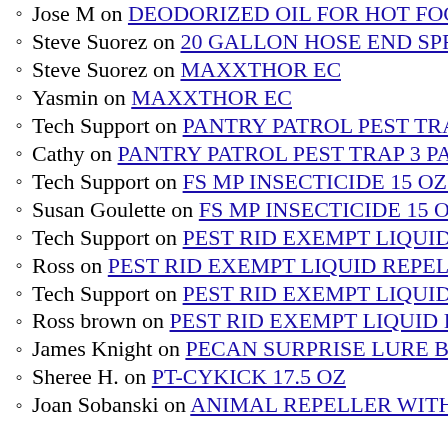Jose M on DEODORIZED OIL FOR HOT FOGG…
Steve Suorez on 20 GALLON HOSE END SPRA…
Steve Suorez on MAXXTHOR EC
Yasmin on MAXXTHOR EC
Tech Support on PANTRY PATROL PEST TRAP…
Cathy on PANTRY PATROL PEST TRAP 3 PACK…
Tech Support on FS MP INSECTICIDE 15 OZ AB…
Susan Goulette on FS MP INSECTICIDE 15 OZ…
Tech Support on PEST RID EXEMPT LIQUID RE…
Ross on PEST RID EXEMPT LIQUID REPELLE…
Tech Support on PEST RID EXEMPT LIQUID RE…
Ross brown on PEST RID EXEMPT LIQUID REP…
James Knight on PECAN SURPRISE LURE BAI…
Sheree H. on PT-CYKICK 17.5 OZ
Joan Sobanski on ANIMAL REPELLER WITH W…